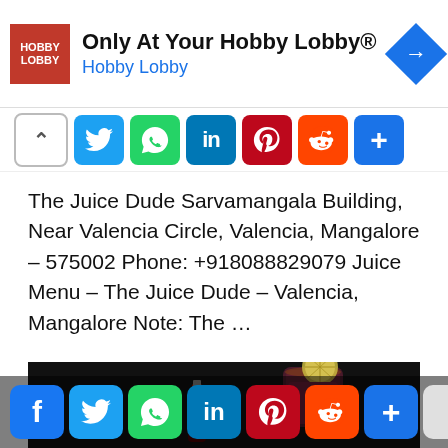[Figure (screenshot): Hobby Lobby advertisement banner with red square logo, text 'Only At Your Hobby Lobby®' and 'Hobby Lobby', blue diamond arrow icon on right]
[Figure (screenshot): Social media share bar with collapse arrow, Twitter, WhatsApp, LinkedIn, Pinterest, Reddit, and More (+) icons]
The Juice Dude Sarvamangala Building, Near Valencia Circle, Valencia, Mangalore – 575002 Phone: +918088829079 Juice Menu – The Juice Dude – Valencia, Mangalore Note: The …
[Figure (photo): Dark background photo showing a juice drink in a glass with a lime/lemon slice garnish and a bottle in background]
[Figure (screenshot): Social media share bar at bottom with Facebook, Twitter, WhatsApp, LinkedIn, Pinterest, Reddit, More (+) icons and a blank white button]